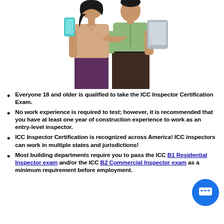[Figure (illustration): Cartoon illustration of two people — a woman holding a smartphone and a man holding a tablet/iPad — standing together, upper body crop]
Everyone 18 and older is qualified to take the ICC Inspector Certification Exam.
No work experience is required to test; however, it is recommended that you have at least one year of construction experience to work as an entry-level inspector.
ICC Inspector Certification is recognized across America! ICC inspectors can work in multiple states and jurisdictions!
Most building departments require you to pass the ICC B1 Residential Inspector exam and/or the ICC B2 Commercial Inspector exam as a minimum requirement before employment.